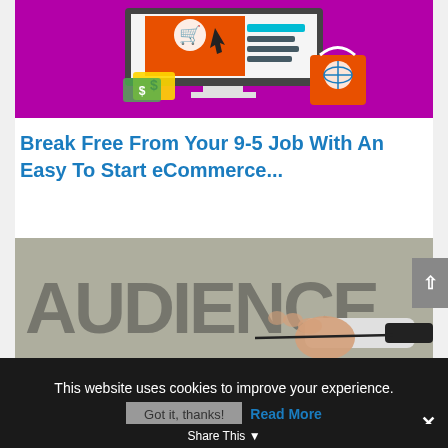[Figure (illustration): eCommerce illustration showing a computer monitor with shopping cart icon on orange background, cursor arrow, teal horizontal bars, dollar signs, a bag with globe icon, on purple/magenta background]
Break Free From Your 9-5 Job With An Easy To Start eCommerce...
[Figure (photo): Photo of a hand writing the word 'AUDIENCE' on a whiteboard with a black marker]
This website uses cookies to improve your experience.
Got it, thanks!
Read More
Share This